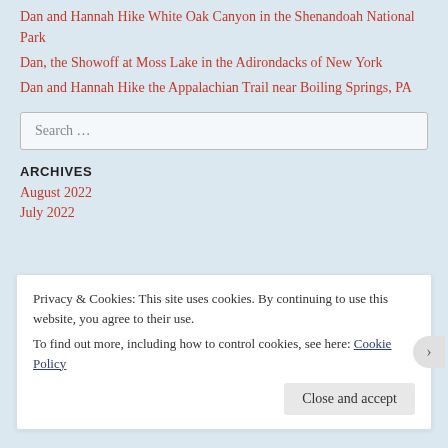Dan and Hannah Hike White Oak Canyon in the Shenandoah National Park
Dan, the Showoff at Moss Lake in the Adirondacks of New York
Dan and Hannah Hike the Appalachian Trail near Boiling Springs, PA
Search …
ARCHIVES
August 2022
July 2022
Privacy & Cookies: This site uses cookies. By continuing to use this website, you agree to their use.
To find out more, including how to control cookies, see here: Cookie Policy
Close and accept